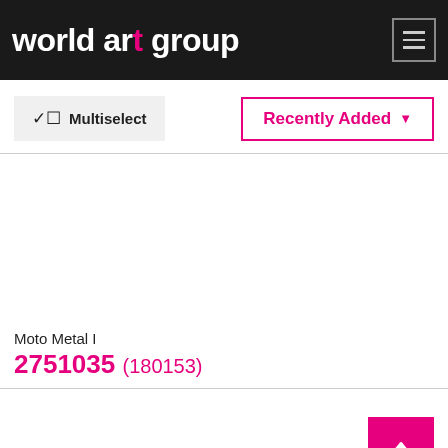world art group
Multiselect
Recently Added
Moto Metal I
2751035 (180153)
[Figure (other): Scroll to top button with upward arrow on pink/magenta background]